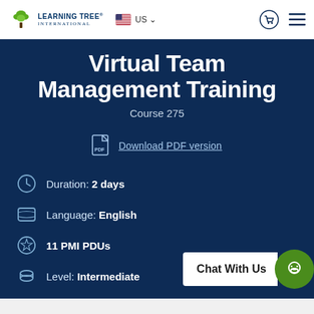[Figure (logo): Learning Tree International logo with green tree icon and dark blue text]
[Figure (other): US flag icon with 'US' text and dropdown arrow]
[Figure (other): Shopping cart icon in circle]
[Figure (other): Hamburger menu icon (three lines)]
Virtual Team Management Training
Course 275
Download PDF version
Duration: 2 days
Language: English
11 PMI PDUs
Level: Intermediate
Chat With Us